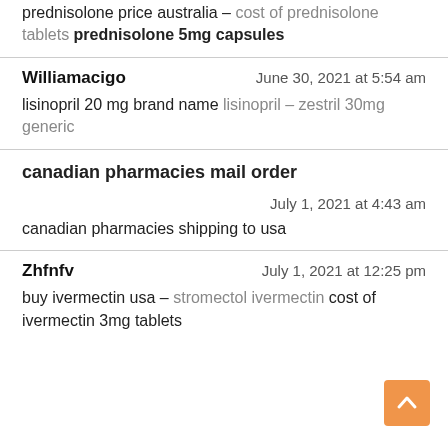prednisolone price australia – cost of prednisolone tablets prednisolone 5mg capsules
Williamacigo   June 30, 2021 at 5:54 am
lisinopril 20 mg brand name lisinopril – zestril 30mg generic
canadian pharmacies mail order
July 1, 2021 at 4:43 am
canadian pharmacies shipping to usa
Zhfnfv   July 1, 2021 at 12:25 pm
buy ivermectin usa – stromectol ivermectin cost of ivermectin 3mg tablets